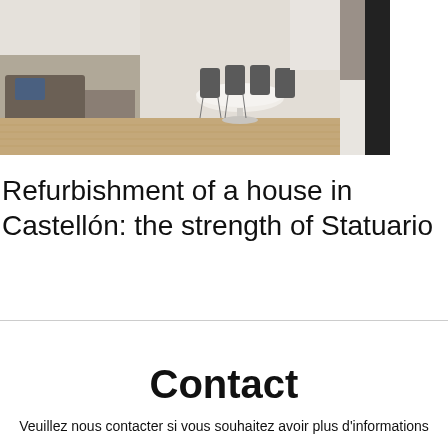[Figure (photo): Interior photo of a refurbished living/dining room showing a grey sofa on the left, a round white dining table with grey chairs in the center, light wood flooring, and light walls. A dark element is partially visible on the right edge.]
Refurbishment of a house in Castellón: the strength of Statuario
Contact
Veuillez nous contacter si vous souhaitez avoir plus d'informations